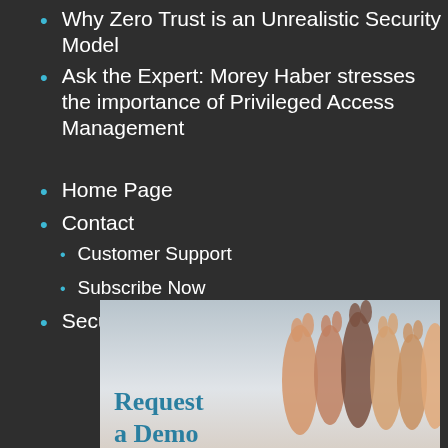Why Zero Trust is an Unrealistic Security Model
Ask the Expert: Morey Haber stresses the importance of Privileged Access Management
Home Page
Contact
Customer Support
Subscribe Now
Security Blog
[Figure (photo): Request a Demo promotional banner with raised hands in background, text reads 'Request a Demo']